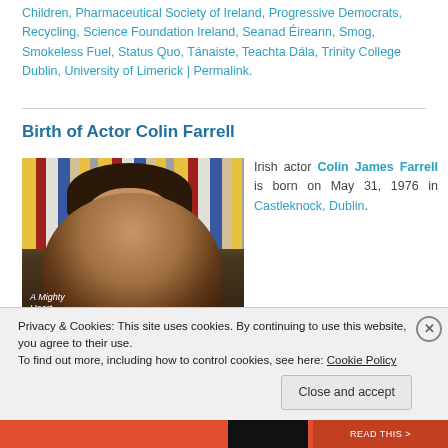Children, Pharmaceutical Society of Ireland, Progressive Democrats, Recycling, Science Foundation Ireland, Seanad Éireann, Smog, Smokeless Fuel, Status Quo, Tánaiste, Teachta Dála, Trinity College Dublin, University of Limerick | Permalink.
Birth of Actor Colin Farrell
[Figure (photo): Photo of Colin Farrell in front of bookshelves]
Irish actor Colin James Farrell is born on May 31, 1976 in Castleknock, Dublin.
Privacy & Cookies: This site uses cookies. By continuing to use this website, you agree to their use.
To find out more, including how to control cookies, see here: Cookie Policy
Close and accept